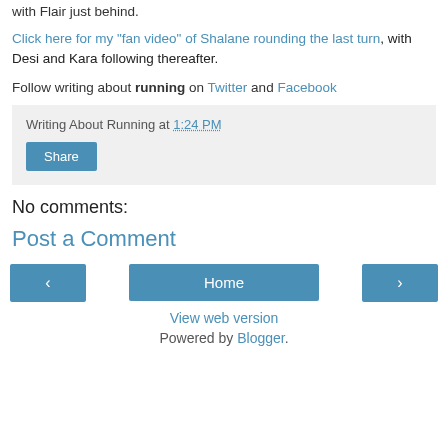with Flair just behind.
Click here for my "fan video" of Shalane rounding the last turn, with Desi and Kara following thereafter.
Follow writing about running on Twitter and Facebook
Writing About Running at 1:24 PM
Share
No comments:
Post a Comment
Home
View web version
Powered by Blogger.